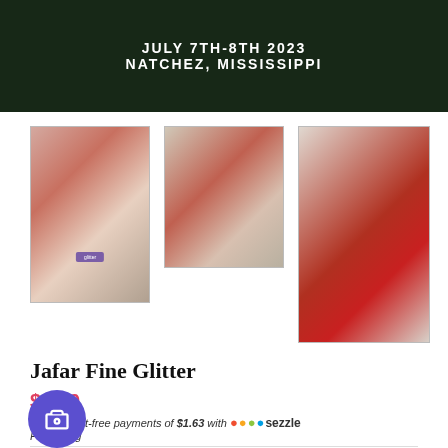[Figure (photo): Banner image with dark green foliage background showing text JULY 7TH-8TH 2023 NATCHEZ, MISSISSIPPI in white bold letters]
[Figure (photo): Close-up photo of a square glitter jar with black lid containing red/pink fine glitter, with a purple label, placed near white pillar]
[Figure (photo): Photo of a small glitter jar tipped over with red fine glitter spilling out onto light wood surface]
[Figure (photo): Close-up overhead photo of red fine glitter spilling from a clear jar onto white wood surface]
Jafar Fine Glitter
$6.50
or 4 interest-free payments of $1.63 with Sezzle Packaging